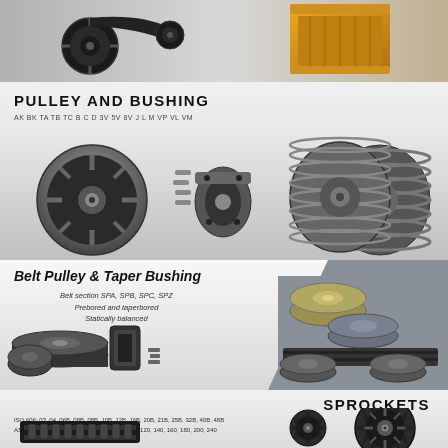[Figure (photo): Top strip showing belt drive pulleys, sprocket wheels, and industrial mechanical components on grey background]
PULLEY AND BUSHING
AK BK TA TB TC B C D 3V 5V 8V J L M VP VL VM
[Figure (photo): Pulley and bushing product photos showing a large V-belt pulley with belt, taper lock bushing assembly with bolts, and multi-groove sheave pulleys]
Belt Pulley & Taper Bushing
Belt section SPA, SPB, SPC, SPZ
Prebored and taperbored
Statically balanced
[Figure (photo): Belt pulley and taper bushing product photos on left, and assorted pulleys and belts on right grey panel]
SPROCKETS
ISO 606: 03, 04, 06B, 08B, 08B, 10B, 12B, 16B, 20B, 21B, 25B, 32B, 40B, 48B
ASME B29.1M: 25, 35, 41, 40, 50, 60, 80, 100, 120, 140, 160, 180, 200, 240
[Figure (photo): Sprockets section showing chain drive sprockets and roller chain on lower portion of page]